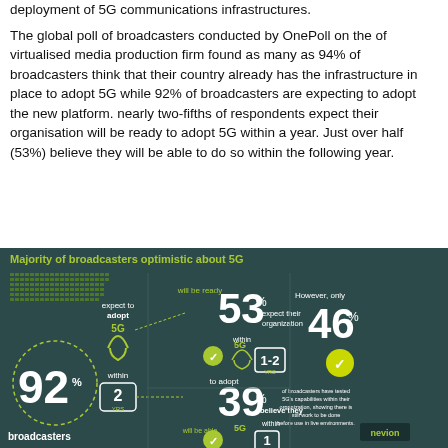deployment of 5G communications infrastructures.
The global poll of broadcasters conducted by OnePoll on the of virtualised media production firm found as many as 94% of broadcasters think that their country already has the infrastructure in place to adopt 5G while 92% of broadcasters are expecting to adopt the new platform. nearly two-fifths of respondents expect their organisation will be ready to adopt 5G within a year. Just over half (53%) believe they will be able to do so within the following year.
[Figure (infographic): Infographic titled 'Majority of broadcasters optimistic about 5G'. Shows: 92% broadcasters expect to adopt 5G within 2 years. 53% expect their organization will be ready to adopt 5G within 1-2 years. 39% believe they will be able to adopt 5G within 1 year. However, only 46% of broadcasters have tested 5G's capabilities within their organization, showing there is still work to be done before use in live environments.]